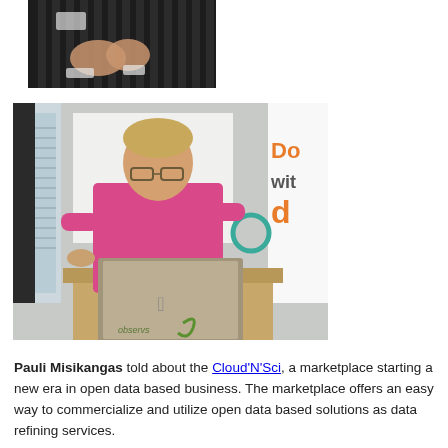[Figure (photo): Partial photo of a person wearing a striped black and white top, hands clasped, with a name tag visible, cropped at chest level]
[Figure (photo): Man in a pink shirt with glasses standing behind a podium with an Apple MacBook laptop branded with 'observs', in a conference room with a banner partially visible reading 'Do' 'wit' 'd' in orange text]
Pauli Misikangas told about the Cloud'N'Sci, a marketplace starting a new era in open data based business. The marketplace offers an easy way to commercialize and utilize open data based solutions as data refining services.